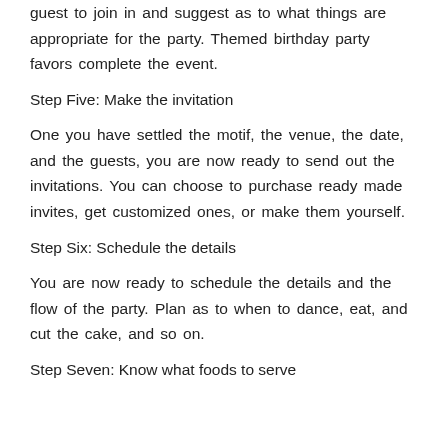guest to join in and suggest as to what things are appropriate for the party. Themed birthday party favors complete the event.
Step Five: Make the invitation
One you have settled the motif, the venue, the date, and the guests, you are now ready to send out the invitations. You can choose to purchase ready made invites, get customized ones, or make them yourself.
Step Six: Schedule the details
You are now ready to schedule the details and the flow of the party. Plan as to when to dance, eat, and cut the cake, and so on.
Step Seven: Know what foods to serve